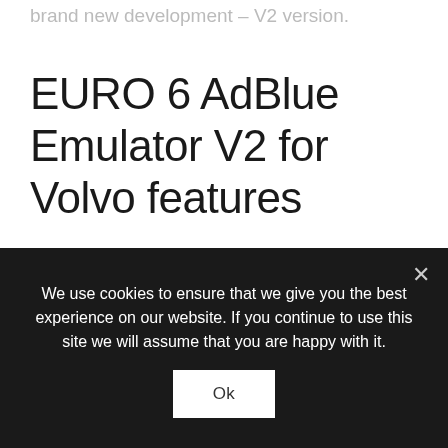brand new development – V2 version.
EURO 6 AdBlue Emulator V2 for Volvo features
This EURO 6 AdBlue Emulator for Volvo version is fully compatible with all Volvo EURO 6 trucks and buses. There are no limitations related to firmware installed on the vehicle. The only thing that could
We use cookies to ensure that we give you the best experience on our website. If you continue to use this site we will assume that you are happy with it.
Ok